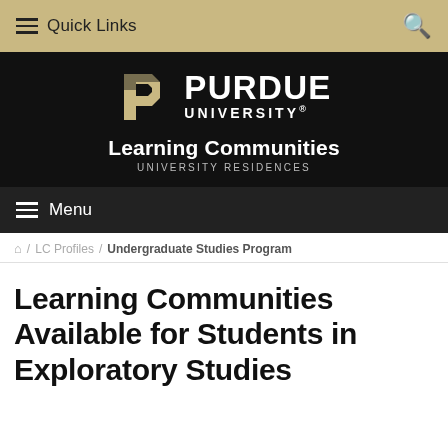Quick Links
[Figure (logo): Purdue University logo with stylized P and text PURDUE UNIVERSITY Learning Communities UNIVERSITY RESIDENCES on black background]
Menu
/ LC Profiles / Undergraduate Studies Program
Learning Communities Available for Students in Exploratory Studies